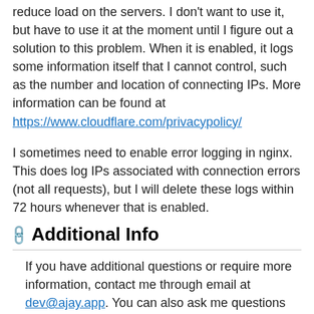reduce load on the servers. I don't want to use it, but have to use it at the moment until I figure out a solution to this problem. When it is enabled, it logs some information itself that I cannot control, such as the number and location of connecting IPs. More information can be found at https://www.cloudflare.com/privacypolicy/
I sometimes need to enable error logging in nginx. This does log IPs associated with connection errors (not all requests), but I will delete these logs within 72 hours whenever that is enabled.
Additional Info
If you have additional questions or require more information, contact me through email at dev@ajay.app. You can also ask me questions